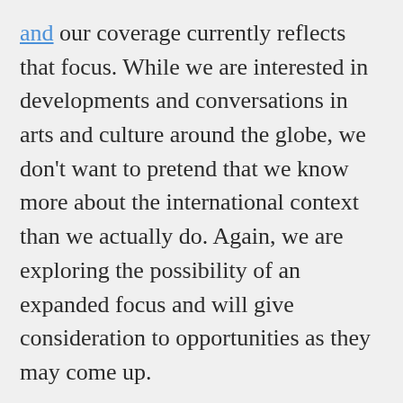and our coverage currently reflects that focus. While we are interested in developments and conversations in arts and culture around the globe, we don't want to pretend that we know more about the international context than we actually do. Again, we are exploring the possibility of an expanded focus and will give consideration to opportunities as they may come up.
We know this definition of a healthy arts ecosystem won't necessarily resonate with everyone. Nevertheless, we've tried very hard to design it to be capable of speaking for as many people as possible, and are eager to improve it in any way we can. We consider this definition a living document and welcome critical feedback and debate, either on specific details or the